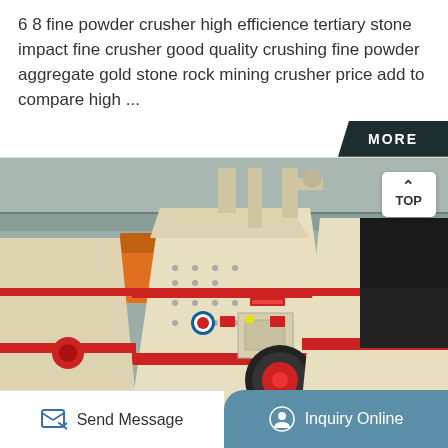6 8 fine powder crusher high efficience tertiary stone impact fine crusher good quality crushing fine powder aggregate gold stone rock mining crusher price add to compare high ...
[Figure (photo): Industrial impact/fine powder crushers in a factory setting — large beige/cream colored heavy machinery with red accent stripes, a black and red pulley wheel visible, arranged on a factory floor]
Send Message | Inquiry Online